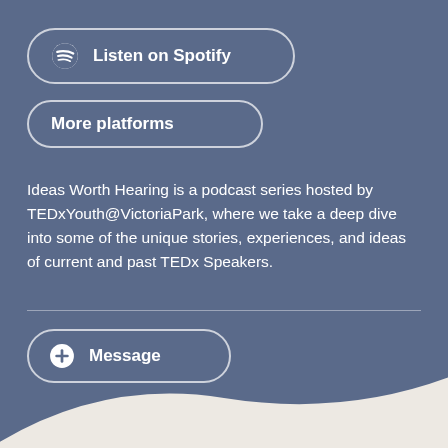[Figure (other): Listen on Spotify button with Spotify logo icon]
[Figure (other): More platforms button]
Ideas Worth Hearing is a podcast series hosted by TEDxYouth@VictoriaPark, where we take a deep dive into some of the unique stories, experiences, and ideas of current and past TEDx Speakers.
[Figure (other): Message button with plus/chat icon]
[Figure (illustration): White wave/hill shape at bottom of page]